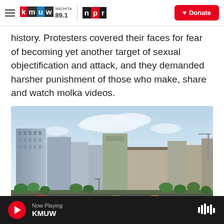KMUW WICHITA 89.1 | NPR | Donate
history. Protesters covered their faces for fear of becoming yet another target of sexual objectification and attack, and they demanded harsher punishment of those who make, share and watch molka videos.
[Figure (photo): A city skyline photograph showing urban buildings and skyscrapers under a partly cloudy sky with trees in the foreground, appearing to be a South Korean city.]
Now Playing KMUW